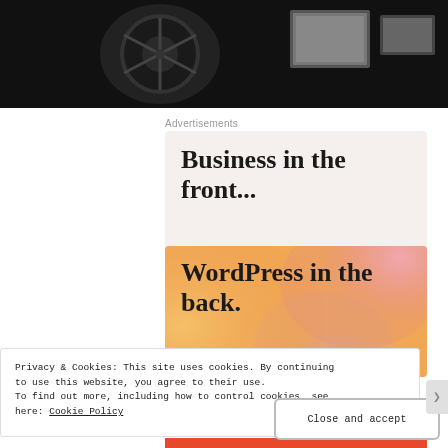[Figure (photo): Dark background photo showing a mechanical/decorative object, partially visible at top of page]
Advertisements
[Figure (infographic): Advertisement with two sections: top beige/cream background with bold serif text 'Business in the front...' and bottom orange gradient background with bold serif text 'WordPress in the back.']
Privacy & Cookies: This site uses cookies. By continuing to use this website, you agree to their use.
To find out more, including how to control cookies, see here: Cookie Policy
Close and accept